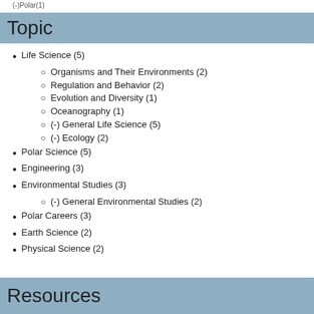(-)Polar(1)
Topic
Life Science (5)
Organisms and Their Environments (2)
Regulation and Behavior (2)
Evolution and Diversity (1)
Oceanography (1)
(-) General Life Science (5)
(-) Ecology (2)
Polar Science (5)
Engineering (3)
Environmental Studies (3)
(-) General Environmental Studies (2)
Polar Careers (3)
Earth Science (2)
Physical Science (2)
Resources